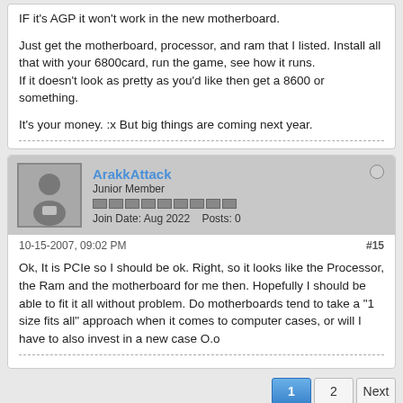IF it's AGP it won't work in the new motherboard.

Just get the motherboard, processor, and ram that I listed. Install all that with your 6800card, run the game, see how it runs.
If it doesn't look as pretty as you'd like then get a 8600 or something.

It's your money. :x But big things are coming next year.
ArakkAttack
Junior Member
Join Date: Aug 2022   Posts: 0
10-15-2007, 09:02 PM
#15
Ok, It is PCIe so I should be ok. Right, so it looks like the Processor, the Ram and the motherboard for me then. Hopefully I should be able to fit it all without problem. Do motherboards tend to take a "1 size fits all" approach when it comes to computer cases, or will I have to also invest in a new case O.o
1
2
Next